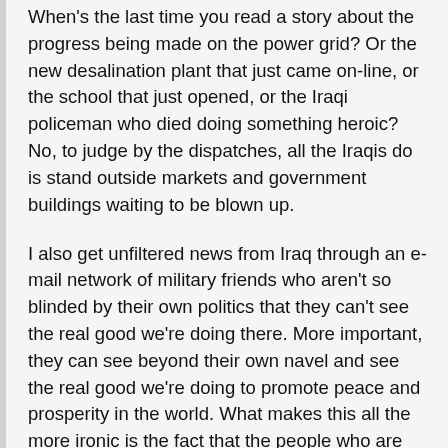When's the last time you read a story about the progress being made on the power grid? Or the new desalination plant that just came on-line, or the school that just opened, or the Iraqi policeman who died doing something heroic? No, to judge by the dispatches, all the Iraqis do is stand outside markets and government buildings waiting to be blown up.
I also get unfiltered news from Iraq through an e-mail network of military friends who aren't so blinded by their own politics that they can't see the real good we're doing there. More important, they can see beyond their own navel and see the real good we're doing to promote peace and prosperity in the world. What makes this all the more ironic is the fact that the people who are fighting and dying want to stay and the people who are merely